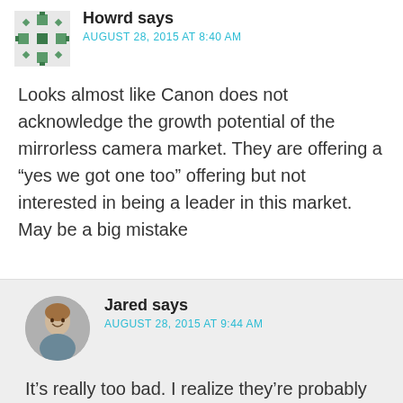Howrd says
AUGUST 28, 2015 AT 8:40 AM
Looks almost like Canon does not acknowledge the growth potential of the mirrorless camera market. They are offering a “yes we got one too” offering but not interested in being a leader in this market. May be a big mistake
Jared says
AUGUST 28, 2015 AT 9:44 AM
It’s really too bad. I realize they’re probably independent departments (lens development and body development), but as a whole, instead of putting